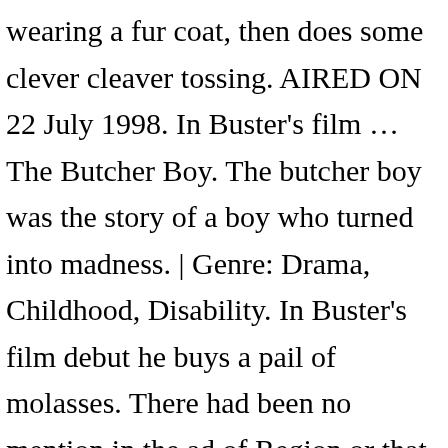wearing a fur coat, then does some clever cleaver tossing. AIRED ON 22 July 1998. In Buster's film … The Butcher Boy. The butcher boy was the story of a boy who turned into madness. | Genre: Drama, Childhood, Disability. In Buster's film debut he buys a pail of molasses. There had been no mention in the ad of Region or that playback could be problematic. Some platforms allow you to rent The Butcher Boy for a limited time or purchase the movie and download it to your device. The Monaghan premier of 'The Butcher